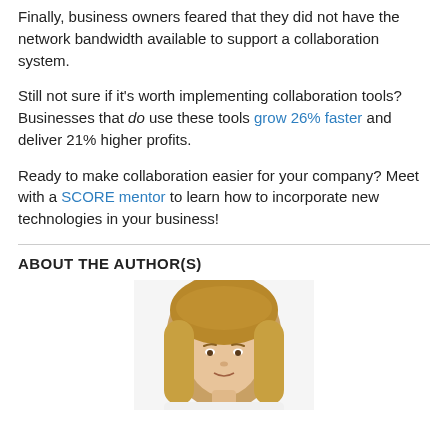Finally, business owners feared that they did not have the network bandwidth available to support a collaboration system.
Still not sure if it's worth implementing collaboration tools? Businesses that do use these tools grow 26% faster and deliver 21% higher profits.
Ready to make collaboration easier for your company? Meet with a SCORE mentor to learn how to incorporate new technologies in your business!
ABOUT THE AUTHOR(S)
[Figure (photo): Author headshot photo — woman with straight brown/blonde hair, cropped at top of page bottom section]